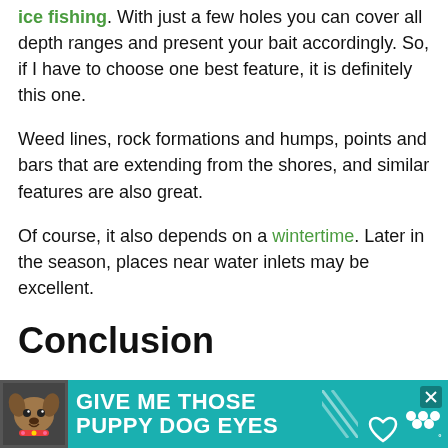ice fishing. With just a few holes you can cover all depth ranges and present your bait accordingly. So, if I have to choose one best feature, it is definitely this one.
Weed lines, rock formations and humps, points and bars that are extending from the shores, and similar features are also great.
Of course, it also depends on a wintertime. Later in the season, places near water inlets may be excellent.
Conclusion
Knowing how to find fish while ice fishing is important of you don't want to go home empty handed. Anglers, especially beginners, s...
[Figure (other): Advertisement banner at bottom: teal background with dog image, text 'GIVE ME THOSE PUPPY DOG EYES' with heart icon and close button, Tidal logo at right]